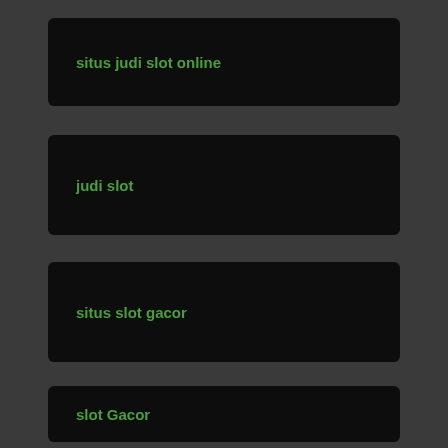situs judi slot online
judi slot
situs slot gacor
slot Gacor